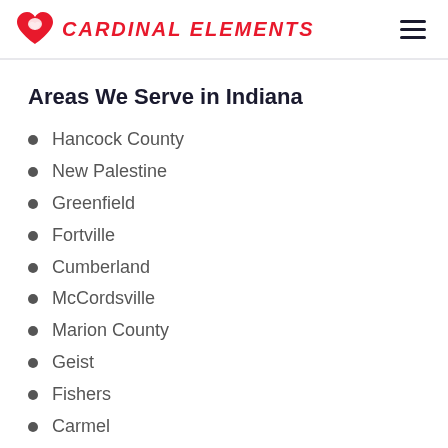CARDINAL ELEMENTS
Areas We Serve in Indiana
Hancock County
New Palestine
Greenfield
Fortville
Cumberland
McCordsville
Marion County
Geist
Fishers
Carmel